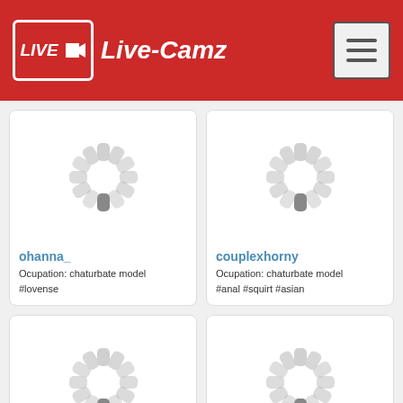Live-Camz
[Figure (screenshot): Loading spinner placeholder for ohanna_ webcam thumbnail]
ohanna_
Ocupation: chaturbate model
#lovense
[Figure (screenshot): Loading spinner placeholder for couplexhorny webcam thumbnail]
couplexhorny
Ocupation: chaturbate model
#anal #squirt #asian
[Figure (screenshot): Loading spinner placeholder for card 3 webcam thumbnail]
[Figure (screenshot): Loading spinner placeholder for card 4 webcam thumbnail]